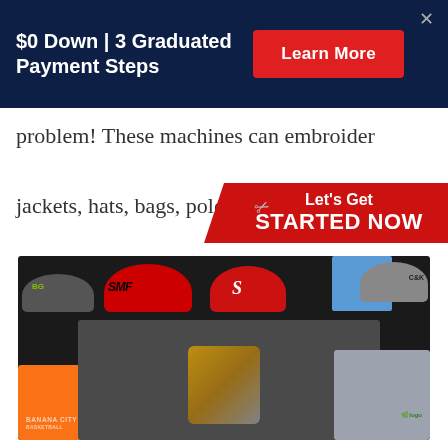$0 Down | 3 Graduated Payment Steps
problem! These machines can embroider jackets, hats, bags, polos and so m
Let's Get STARTED NOW
[Figure (photo): Photo of various embroidered hats and apparel items displayed on a dark background, including red trucker hats with SMF and S logos, a gray hat with CK branding, a gray hat with green BG logo, an orange shirt with Banana City text, a gray shirt with an owl embroidered design, and a gray polo shirt with a green logo.]